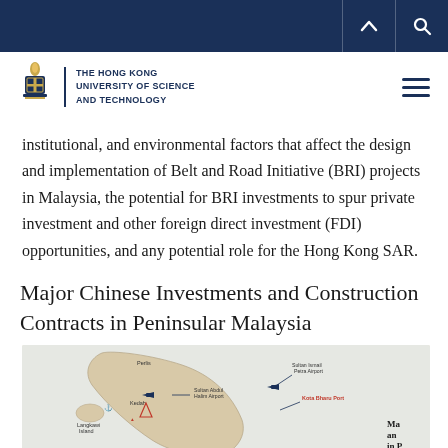THE HONG KONG UNIVERSITY OF SCIENCE AND TECHNOLOGY
institutional, and environmental factors that affect the design and implementation of Belt and Road Initiative (BRI) projects in Malaysia, the potential for BRI investments to spur private investment and other foreign direct investment (FDI) opportunities, and any potential role for the Hong Kong SAR.
Major Chinese Investments and Construction Contracts in Peninsular Malaysia
[Figure (map): Map of Peninsular Malaysia showing major Chinese investments and construction contracts, with markers for locations including Langkawi Island, Sultan Abdul Halim Airport, Kedah, Sultan Ismail Petra Airport, Kota Bharu Port, and other sites.]